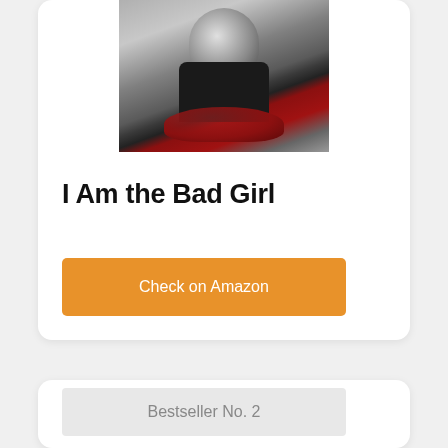[Figure (photo): Person wearing a helmet and black jacket on a red motorcycle, black and white with red motorcycle tank visible]
I Am the Bad Girl
Check on Amazon
Bestseller No. 2